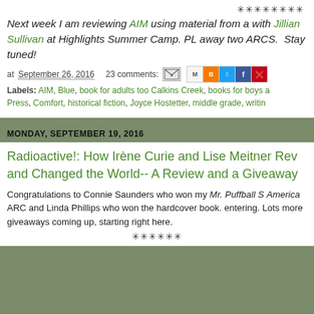********
Next week I am reviewing AIM using material from a with Jillian Sullivan at Highlights Summer Camp. PL away two ARCS.  Stay tuned!
at September 26, 2016   23 comments:
Labels: AIM, Blue, book for adults too Calkins Creek, books for boys a Press, Comfort, historical fiction, Joyce Hostetter, middle grade, writin
MONDAY, SEPTEMBER 19, 2016
Radioactive!: How Irène Curie and Lise Meitner Rev and Changed the World-- A Review and a Giveaway
Congratulations to Connie Saunders who won my Mr. Puffball S America ARC and Linda Phillips who won the hardcover book. entering. Lots more giveaways coming up, starting right here.
******